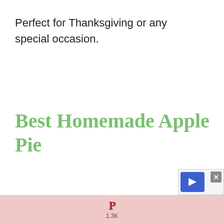Perfect for Thanksgiving or any special occasion.
Best Homemade Apple Pie
[Figure (screenshot): Advertisement box with blue arrow icon and close (X) button in bottom-right corner]
P 1.3K